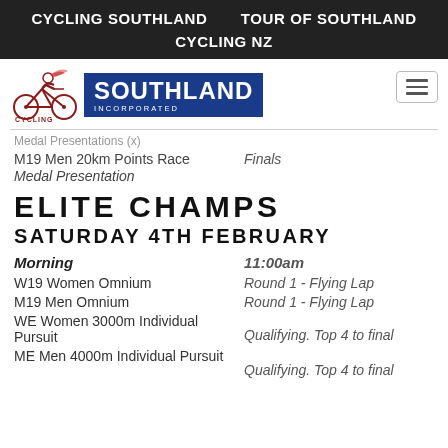CYCLING SOUTHLAND    TOUR OF SOUTHLAND
CYCLING NZ
[Figure (logo): Cycling Southland Incorporated logo with cyclist figure and blue SOUTHLAND INCORPORATED badge]
Medal Presentations (x)
M19 Men 20km Points Race    Finals
Medal Presentation
ELITE CHAMPS
SATURDAY 4TH FEBRUARY
Morning    11:00am
W19 Women Omnium    Round 1 - Flying Lap
M19 Men Omnium    Round 1 - Flying Lap
WE Women 3000m Individual Pursuit    Qualifying. Top 4 to final
ME Men 4000m Individual Pursuit    Qualifying. Top 4 to final